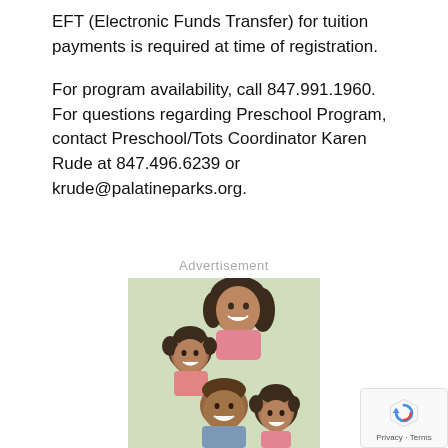EFT (Electronic Funds Transfer) for tuition payments is required at time of registration.
For program availability, call 847.991.1960. For questions regarding Preschool Program, contact Preschool/Tots Coordinator Karen Rude at 847.496.6239 or krude@palatineparks.org.
Advertisement
[Figure (photo): A smiling family of four — a mother, father, and two children — posed together closely, all smiling warmly.]